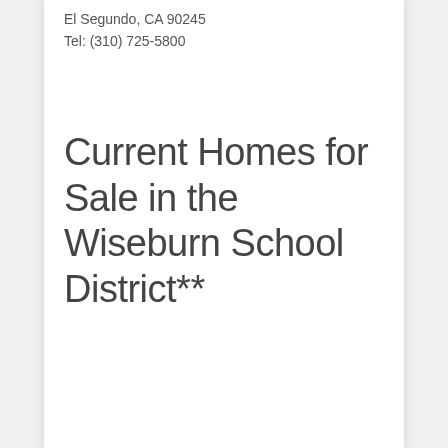El Segundo, CA 90245
Tel: (310) 725-5800
Current Homes for Sale in the Wiseburn School District**